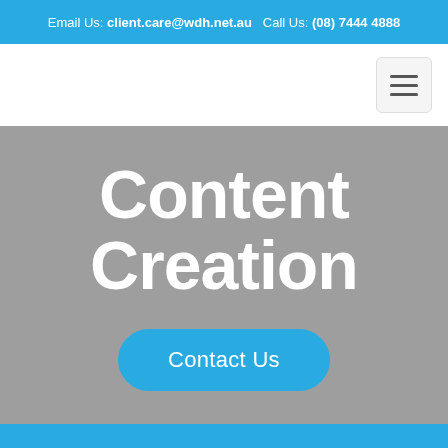Email Us: client.care@wdh.net.au   Call Us: (08) 7444 4888
[Figure (screenshot): Navigation bar with hamburger menu icon (three horizontal lines) on white background]
Content Creation
Contact Us